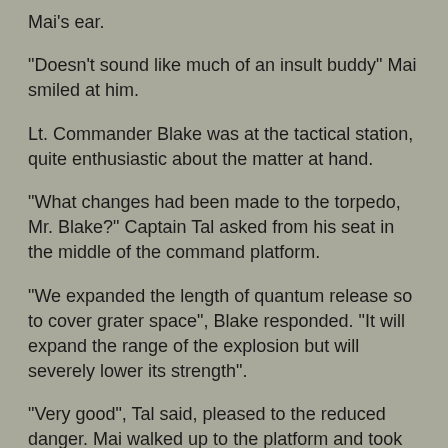Mai's ear.
"Doesn't sound like much of an insult buddy" Mai smiled at him.
Lt. Commander Blake was at the tactical station, quite enthusiastic about the matter at hand.
"What changes had been made to the torpedo, Mr. Blake?" Captain Tal asked from his seat in the middle of the command platform.
"We expanded the length of quantum release so to cover grater space", Blake responded. "It will expand the range of the explosion but will severely lower its strength".
"Very good", Tal said, pleased to the reduced danger. Mai walked up to the platform and took his seat to the left of the captain. Commander Lorei Karin, the Bajoren first officer, was on the right.
"We're ready, Captain", Mai said. "Just give the word".
"Go ahead, Mr. Mai", Tal smiled. "You are authorized to begin".